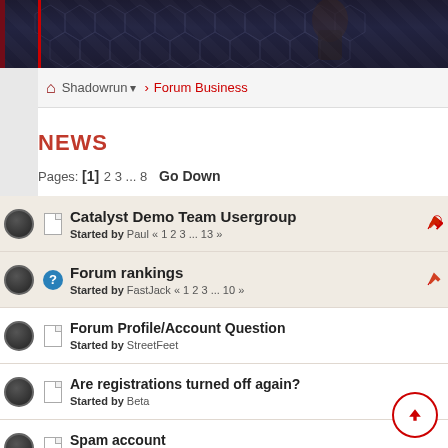[Figure (screenshot): Dark gaming-style banner with hexagonal pattern and character silhouettes]
Shadowrun > Forum Business
NEWS
Pages: [1] 2 3 ... 8   Go Down
| Subject | Started by |
| --- | --- |
| Catalyst Demo Team Usergroup | Started by Paul « 1 2 3 ... 13 » |
| Forum rankings | Started by FastJack « 1 2 3 ... 10 » |
| Forum Profile/Account Question | Started by StreetFeet |
| Are registrations turned off again? | Started by Beta |
| Spam account | Started by Michael Chandra |
| Deleting Account | Started by CigarSmoker |